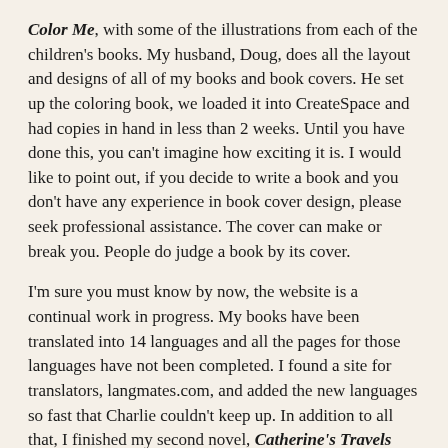Color Me, with some of the illustrations from each of the children's books. My husband, Doug, does all the layout and designs of all of my books and book covers. He set up the coloring book, we loaded it into CreateSpace and had copies in hand in less than 2 weeks. Until you have done this, you can't imagine how exciting it is. I would like to point out, if you decide to write a book and you don't have any experience in book cover design, please seek professional assistance. The cover can make or break you. People do judge a book by its cover.
I'm sure you must know by now, the website is a continual work in progress. My books have been translated into 14 languages and all the pages for those languages have not been completed. I found a site for translators, langmates.com, and added the new languages so fast that Charlie couldn't keep up. In addition to all that, I finished my second novel, Catherine's Travels Book 2 ~ Lawson's Search.
2)  What advice would you give to budding writers?
For all of you budding writers and would be authors, do not give